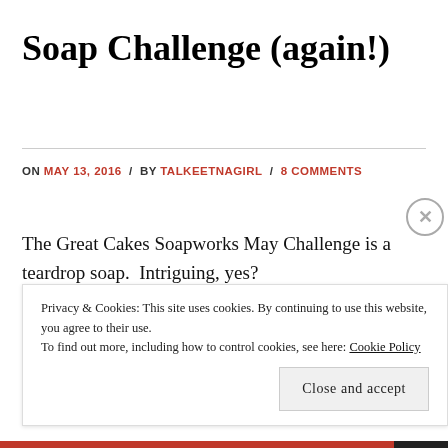Soap Challenge (again!)
ON MAY 13, 2016 / BY TALKEETNAGIRL / 8 COMMENTS
The Great Cakes Soapworks May Challenge is a teardrop soap.  Intriguing, yes?
Privacy & Cookies: This site uses cookies. By continuing to use this website, you agree to their use.
To find out more, including how to control cookies, see here: Cookie Policy
Close and accept